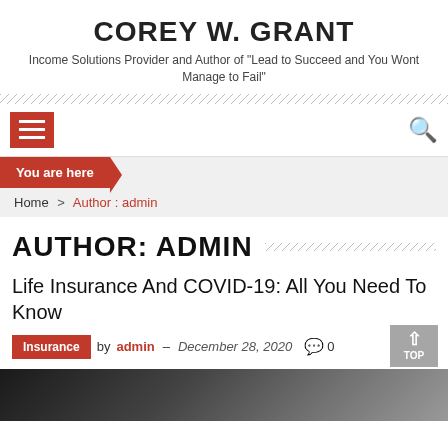COREY W. GRANT
Income Solutions Provider and Author of "Lead to Succeed and You Wont Manage to Fail"
AUTHOR: ADMIN
Home > Author : admin
Life Insurance And COVID-19: All You Need To Know
Insurance  by admin – December 28, 2020  0
[Figure (photo): Partial view of a calculator and financial documents on a dark background]